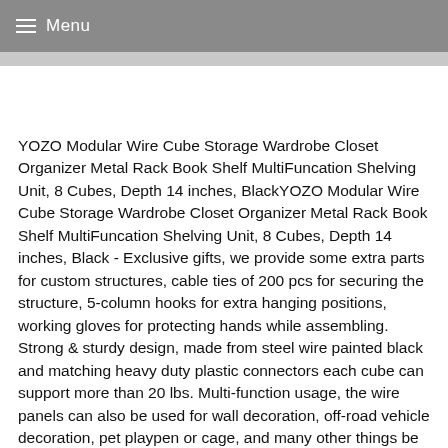Menu
YOZO Modular Wire Cube Storage Wardrobe Closet Organizer Metal Rack Book Shelf MultiFuncation Shelving Unit, 8 Cubes, Depth 14 inches, BlackYOZO Modular Wire Cube Storage Wardrobe Closet Organizer Metal Rack Book Shelf MultiFuncation Shelving Unit, 8 Cubes, Depth 14 inches, Black - Exclusive gifts, we provide some extra parts for custom structures, cable ties of 200 pcs for securing the structure, 5-column hooks for extra hanging positions, working gloves for protecting hands while assembling. Strong & sturdy design, made from steel wire painted black and matching heavy duty plastic connectors each cube can support more than 20 lbs. Multi-function usage, the wire panels can also be used for wall decoration, off-road vehicle decoration, pet playpen or cage, and many other things be as creative as you can. Modular